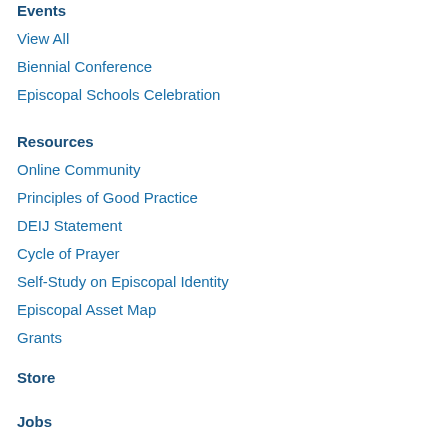Events
View All
Biennial Conference
Episcopal Schools Celebration
Resources
Online Community
Principles of Good Practice
DEIJ Statement
Cycle of Prayer
Self-Study on Episcopal Identity
Episcopal Asset Map
Grants
Store
Jobs